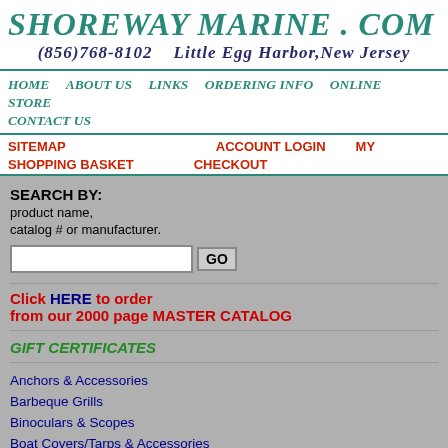SHOREWAY MARINE . COM
(856)768-8102    Little Egg Harbor,New Jersey
HOME   ABOUT US   LINKS   ORDERING INFO   ONLINE STORE   CONTACT US
SITEMAP   ACCOUNT LOGIN   MY SHOPPING BASKET   CHECKOUT
SEARCH BY: product name, catalog # or manufacturer.
Click HERE to order from our 2000 page MASTER CATALOG
GIFT CERTIFICATES
Anchors & Accessories
Barbeque Grills
Binoculars & Scopes
Boat Covers/Tarps & Accessories
Charts & Fishing Charts
Clean and Protect & Washdown Hoses
3M Products and Sudbury